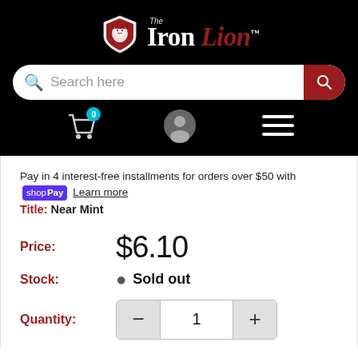[Figure (logo): The Iron Lion shield logo with lion head, red and white, with text 'The Iron Lion' in white and dark red serif font]
[Figure (screenshot): Search bar with magnifying glass icon and 'Search here' placeholder, red search button on right]
[Figure (screenshot): Navigation icons: shopping cart with badge '0', user profile circle, and hamburger menu]
Pay in 4 interest-free installments for orders over $50 with shop Pay Learn more
Title: Near Mint
Price: $6.10
Stock: Sold out
Quantity: 1